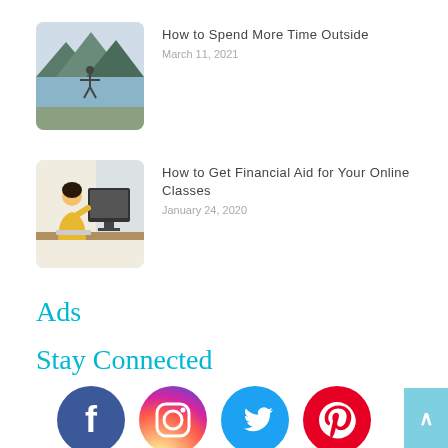[Figure (photo): Person standing outdoors with arms spread near a mountain lake]
How to Spend More Time Outside
March 11, 2021
[Figure (photo): Woman sitting at desk working on a computer]
How to Get Financial Aid for Your Online Classes
January 24, 2020
Ads
Stay Connected
[Figure (infographic): Social media icons: Facebook, Instagram, Twitter, Pinterest]